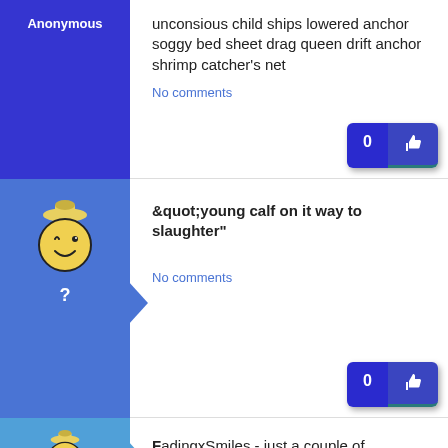Anonymous
unconsious child ships lowered anchor soggy bed sheet drag queen drift anchor shrimp catcher's net
No comments
&quot;young calf on it way to slaughter"
No comments
Jodie44
FadingxSmiles - just a couple of suggestions here. Take out "like a ____" Your readers